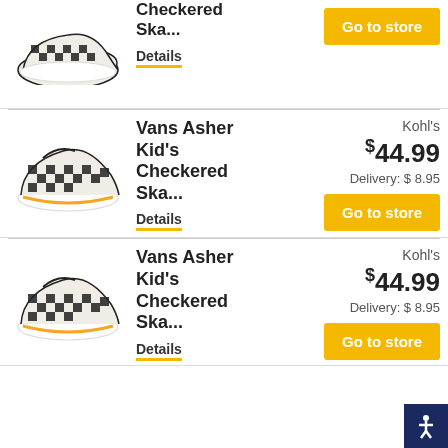[Figure (photo): Vans Asher Kid's Checkered slip-on shoe, top-left partial]
Checkered Ska...
Details
Go to store
[Figure (photo): Vans Asher Kid's Checkered slip-on shoe, white with black checks]
Vans Asher Kid's Checkered Ska...
Details
Kohl's
$ 44.99
Delivery: $ 8.95
Go to store
[Figure (photo): Vans Asher Kid's Checkered slip-on shoe, white with black checks]
Vans Asher Kid's Checkered Ska...
Details
Kohl's
$ 44.99
Delivery: $ 8.95
Go to store